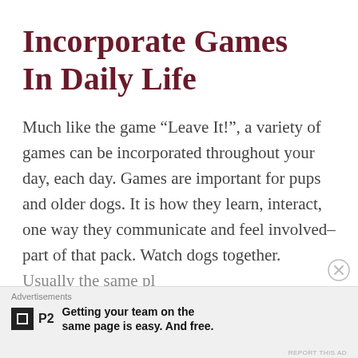Incorporate Games In Daily Life
Much like the game “Leave It!”, a variety of games can be incorporated throughout your day, each day. Games are important for pups and older dogs. It is how they learn, interact, one way they communicate and feel involved–part of that pack. Watch dogs together.
Advertisements
P2 — Getting your team on the same page is easy. And free.